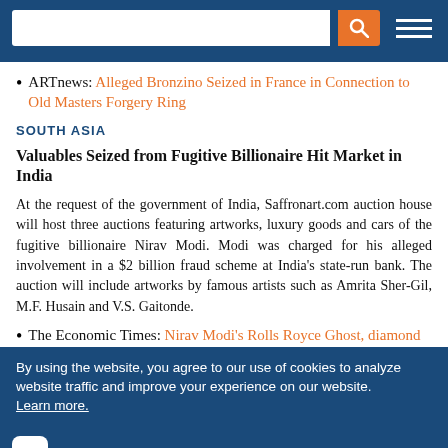[Figure (screenshot): Website navigation bar with search input, orange search button with magnifying glass icon, and hamburger menu icon on dark blue background]
ARTnews: Alleged Bronzino Seized in France in Connection to Old Masters Forgery Ring
SOUTH ASIA
Valuables Seized from Fugitive Billionaire Hit Market in India
At the request of the government of India, Saffronart.com auction house will host three auctions featuring artworks, luxury goods and cars of the fugitive billionaire Nirav Modi. Modi was charged for his alleged involvement in a $2 billion fraud scheme at India's state-run bank. The auction will include artworks by famous artists such as Amrita Sher-Gil, M.F. Husain and V.S. Gaitonde.
The Economic Times: Nirav Modi's Rolls Royce Ghost, diamond
By using the website, you agree to our use of cookies to analyze website traffic and improve your experience on our website. Learn more.